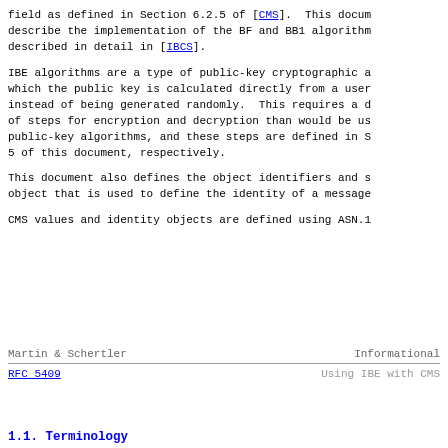field as defined in Section 6.2.5 of [CMS].  This document describe the implementation of the BF and BB1 algorithms described in detail in [IBCS].
IBE algorithms are a type of public-key cryptographic algorithms in which the public key is calculated directly from a user identity instead of being generated randomly.  This requires a different set of steps for encryption and decryption than would be used with public-key algorithms, and these steps are defined in Sections 4 and 5 of this document, respectively.
This document also defines the object identifiers and structure of an object that is used to define the identity of a message recipient.
CMS values and identity objects are defined using ASN.1
Martin & Schertler                 Informational
RFC 5409                           Using IBE with CMS
1.1.  Terminology